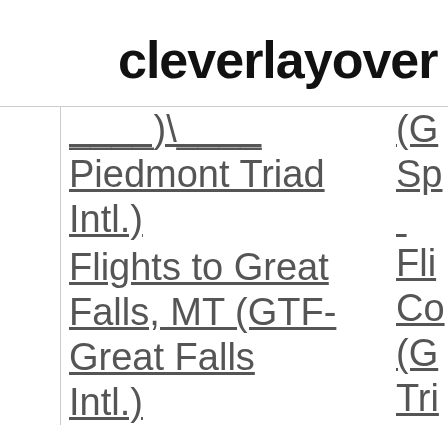cleverlayover
Piedmont Triad Intl.)
Flights to Great Falls, MT (GTF-Great Falls Intl.)